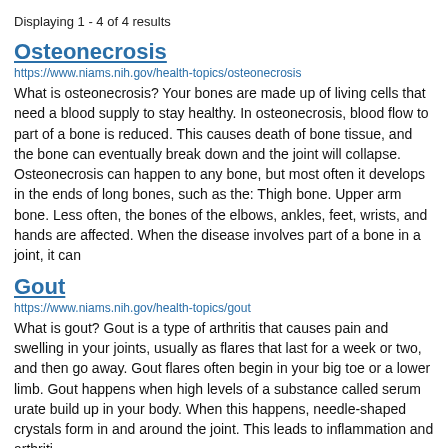Displaying 1 - 4 of 4 results
Osteonecrosis
https://www.niams.nih.gov/health-topics/osteonecrosis
What is osteonecrosis? Your bones are made up of living cells that need a blood supply to stay healthy. In osteonecrosis, blood flow to part of a bone is reduced. This causes death of bone tissue, and the bone can eventually break down and the joint will collapse. Osteonecrosis can happen to any bone, but most often it develops in the ends of long bones, such as the: Thigh bone. Upper arm bone. Less often, the bones of the elbows, ankles, feet, wrists, and hands are affected. When the disease involves part of a bone in a joint, it can
Gout
https://www.niams.nih.gov/health-topics/gout
What is gout? Gout is a type of arthritis that causes pain and swelling in your joints, usually as flares that last for a week or two, and then go away. Gout flares often begin in your big toe or a lower limb. Gout happens when high levels of a substance called serum urate build up in your body. When this happens, needle-shaped crystals form in and around the joint. This leads to inflammation and arthriti